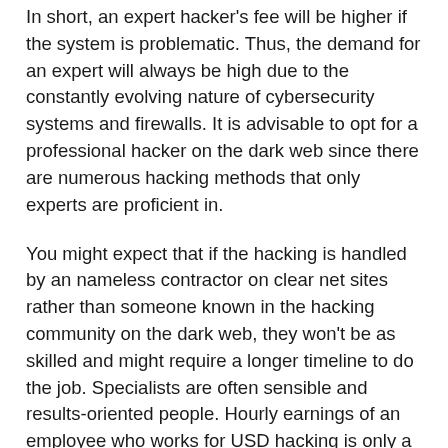In short, an expert hacker's fee will be higher if the system is problematic. Thus, the demand for an expert will always be high due to the constantly evolving nature of cybersecurity systems and firewalls. It is advisable to opt for a professional hacker on the dark web since there are numerous hacking methods that only experts are proficient in.
You might expect that if the hacking is handled by an nameless contractor on clear net sites rather than someone known in the hacking community on the dark web, they won't be as skilled and might require a longer timeline to do the job. Specialists are often sensible and results-oriented people. Hourly earnings of an employee who works for USD hacking is only a tiny fraction (one-tenth) of what a professional hacker charges to get into your system. Therefore, you might save more money if you hire a professional. It would save more time by hiring an hourly